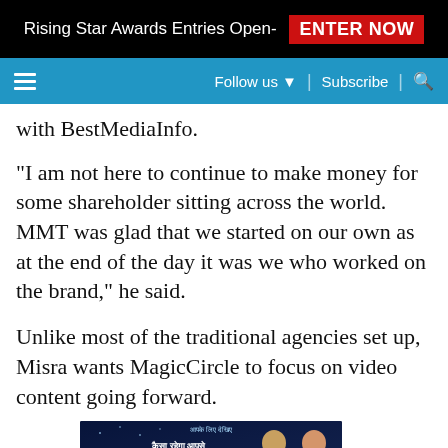Rising Star Awards Entries Open- ENTER NOW
≡  Follow us ▼ | Subscribe | 🔍
with BestMediaInfo.
"I am not here to continue to make money for some shareholder sitting across the world. MMT was glad that we started on our own as at the end of the day it was we who worked on the brand," he said.
Unlike most of the traditional agencies set up, Misra wants MagicCircle to focus on video content going forward.
[Figure (advertisement): An advertisement banner for an Indian astrology TV show called Rashifal, featuring Hindi text 'कैसा रहेगा आपसे राशों का नाता?' and two people.]
Curren... wants